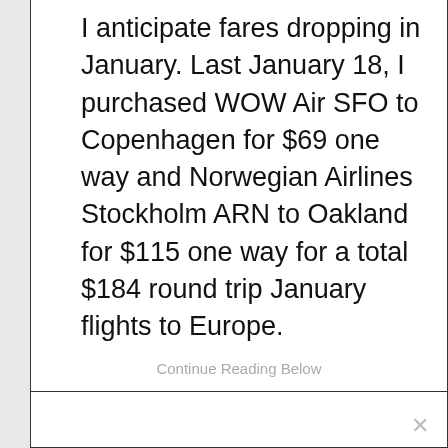I anticipate fares dropping in January. Last January 18, I purchased WOW Air SFO to Copenhagen for $69 one way and Norwegian Airlines Stockholm ARN to Oakland for $115 one way for a total $184 round trip January flights to Europe.
Continue Reading Below